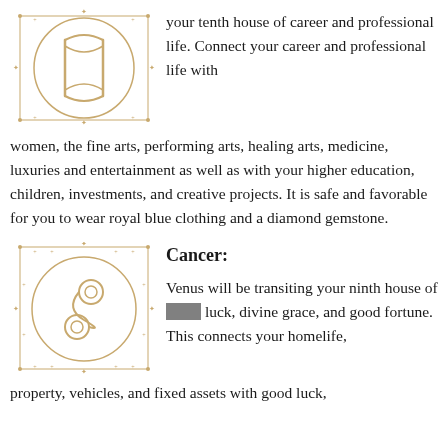[Figure (illustration): Gemini zodiac symbol in golden outline style with decorative star border]
your tenth house of career and professional life. Connect your career and professional life with
women, the fine arts, performing arts, healing arts, medicine, luxuries and entertainment as well as with your higher education, children, investments, and creative projects. It is safe and favorable for you to wear royal blue clothing and a diamond gemstone.
Cancer:
[Figure (illustration): Cancer zodiac symbol in golden outline style with decorative star border]
Venus will be transiting your ninth house of good luck, divine grace, and good fortune. This connects your homelife,
property, vehicles, and fixed assets with good luck,